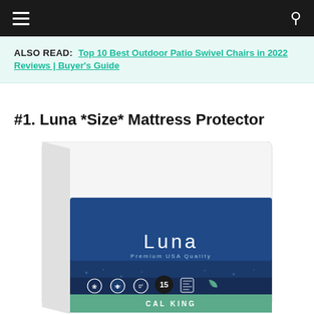navigation bar with hamburger menu and search icon
ALSO READ:  Top 10 Best Outdoor Patio Swivel Chairs in 2022 Reviews | Buyer's Guide
#1. Luna *Size* Mattress Protector
[Figure (photo): Product photo of Luna Premium USA Quality Cal King Mattress Protector in white packaging with blue branded label showing icons for waterproof, stain protection, 15-year guarantee, and other features.]